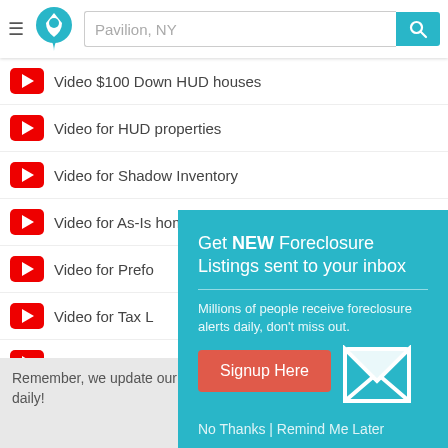Pavilion, NY
Video  $100 Down  HUD houses
Video for HUD properties
Video for Shadow Inventory
Video for As-Is homes
Video for Prefe...
Video for Tax L...
Video for Sheri...
Video for Shor...
Video for Fixer...
Video for Bank...
Video for City O...
Video for Rent...
[Figure (screenshot): Popup overlay: Get NEW Foreclosure Listings sent to your inbox. Millions of people receive foreclosure alerts daily, don't miss out. Signup Here button. No Thanks | Remind Me Later links.]
Remember, we update our listings often, so be sure to check back daily!